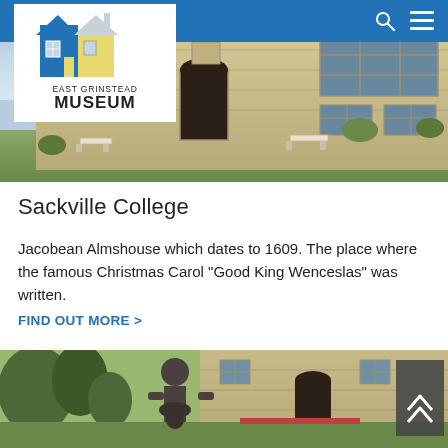East Grinstead Museum — navigation bar with search and menu icons
[Figure (photo): East Grinstead Museum logo — stylized house/building icon in blue and yellow, with text EAST GRINSTEAD MUSEUM below]
[Figure (photo): Exterior photograph of Sackville College, a Jacobean stone building with large mullioned windows, arched entrance, benches on lawn, under clear sky]
Sackville College
Jacobean Almshouse which dates to 1609. The place where the famous Christmas Carol "Good King Wenceslas" was written.
FIND OUT MORE >
[Figure (photo): Exterior photograph of Sackville College from a different angle showing a bronze statue of a figure in the foreground, stone building and green trees behind, with a dark scroll-up button on the right edge]